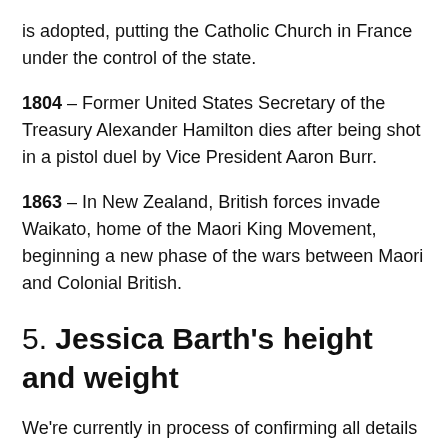is adopted, putting the Catholic Church in France under the control of the state.
1804 – Former United States Secretary of the Treasury Alexander Hamilton dies after being shot in a pistol duel by Vice President Aaron Burr.
1863 – In New Zealand, British forces invade Waikato, home of the Maori King Movement, beginning a new phase of the wars between Maori and Colonial British.
5. Jessica Barth's height and weight
We're currently in process of confirming all details such as Jessica Barth's height, weight, and other stats. If there is any